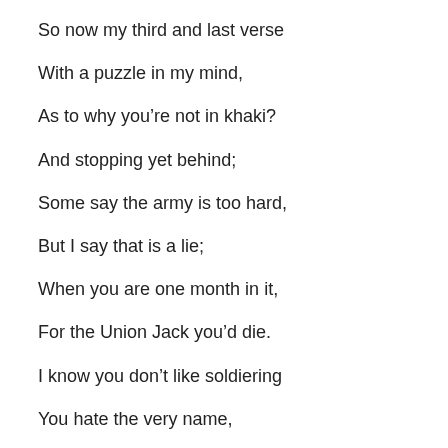So now my third and last verse
With a puzzle in my mind,
As to why you’re not in khaki?
And stopping yet behind;
Some say the army is too hard,
But I say that is a lie;
When you are one month in it,
For the Union Jack you’d die.
I know you don’t like soldiering
You hate the very name,